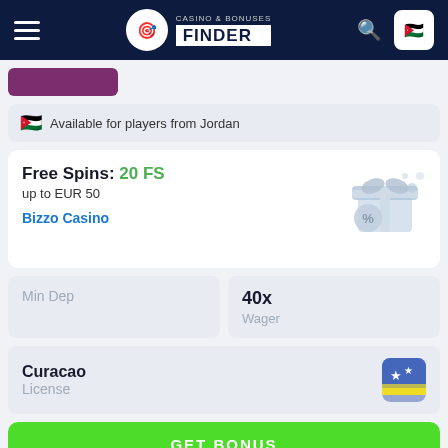Casino & Bonuses Finder
Available for players from Jordan
Free Spins: 20 FS
up to EUR 50
Bizzo Casino
Min Dep
40x
Wager
Curacao
License
GET BONUS
REVIEW
Bonus Code
Not Required